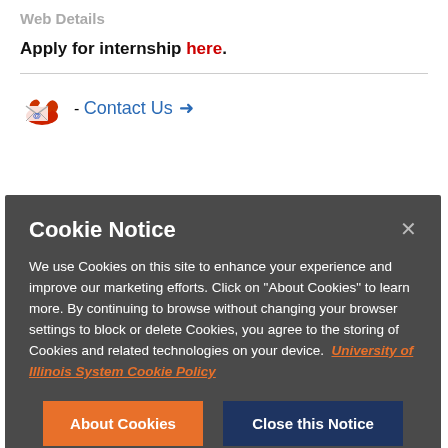Web Details
Apply for internship here.
Contact Us →
Cookie Notice
We use Cookies on this site to enhance your experience and improve our marketing efforts. Click on "About Cookies" to learn more. By continuing to browse without changing your browser settings to block or delete Cookies, you agree to the storing of Cookies and related technologies on your device. University of Illinois System Cookie Policy
About Cookies
Close this Notice